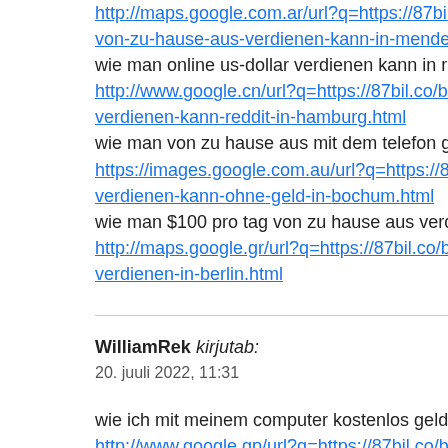http://maps.google.com.ar/url?q=https://87bil.co/bild.de/von-zu-hause-aus-verdienen-kann-in-menden.html
wie man online us-dollar verdienen kann in ravensburg
http://www.google.cn/url?q=https://87bil.co/bild.de/wie-man-online-us-dollar-verdienen-kann-reddit-in-hamburg.html
wie man von zu hause aus mit dem telefon geld verdienen kann
https://images.google.com.au/url?q=https://87bil.co/bild.de/wie-man-online-geld-verdienen-kann-ohne-geld-in-bochum.html
wie man $100 pro tag von zu hause aus verdienen kann
http://maps.google.gr/url?q=https://87bil.co/bild.de/wie-man-online-geld-verdienen-in-berlin.html
WilliamRek kirjutab:
20. juuli 2022, 11:31
wie ich mit meinem computer kostenlos geld verdienen kann
http://www.google.gp/url?q=https://87bil.co/bild.de/wie-man-online-geld-verdienen-kann-in-bocholt.html